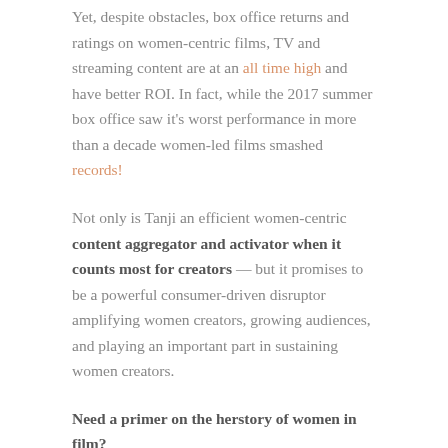Yet, despite obstacles, box office returns and ratings on women-centric films, TV and streaming content are at an all time high and have better ROI. In fact, while the 2017 summer box office saw it's worst performance in more than a decade women-led films smashed records!
Not only is Tanji an efficient women-centric content aggregator and activator when it counts most for creators — but it promises to be a powerful consumer-driven disruptor amplifying women creators, growing audiences, and playing an important part in sustaining women creators.
Need a primer on the herstory of women in film?